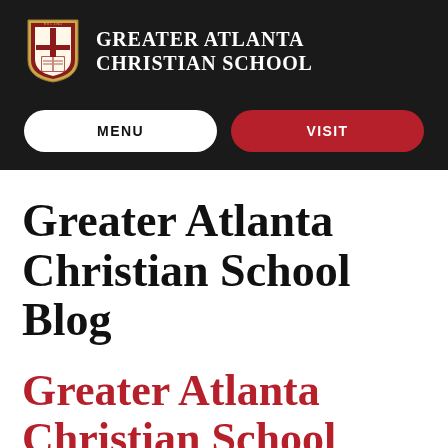[Figure (logo): Greater Atlanta Christian School shield/crest logo with cross and book, red and gold on dark background]
Greater Atlanta Christian School
MENU
VISIT
Greater Atlanta Christian School Blog
Greater Atlanta Christian School